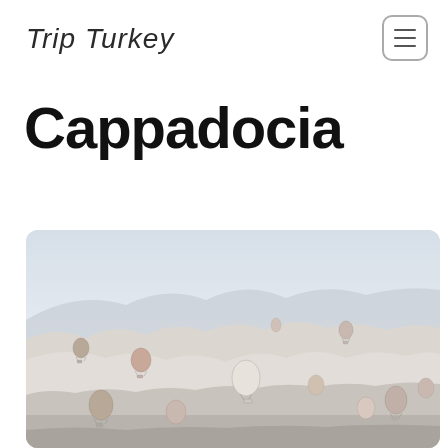Trip Turkey
Cappadocia
[Figure (photo): Aerial landscape photo of Cappadocia, Turkey, showing white snowy hills and valleys with numerous colorful hot air balloons floating in the sky above the terrain.]